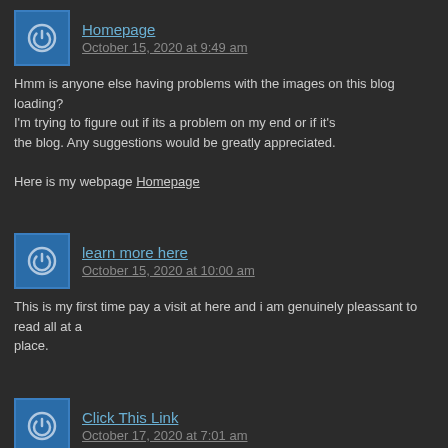Homepage
October 15, 2020 at 9:49 am
Hmm is anyone else having problems with the images on this blog loading? I'm trying to figure out if its a problem on my end or if it's the blog. Any suggestions would be greatly appreciated.

Here is my webpage Homepage
learn more here
October 15, 2020 at 10:00 am
This is my first time pay a visit at here and i am genuinely pleassant to read all at a place.
Click This Link
October 17, 2020 at 7:01 am
For the reason that the admin of Click This Link web site is working, no doubt very shortly it will be well-known, due to its feature contents.